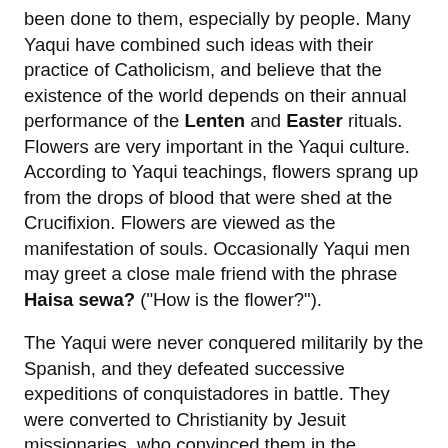been done to them, especially by people. Many Yaqui have combined such ideas with their practice of Catholicism, and believe that the existence of the world depends on their annual performance of the Lenten and Easter rituals. Flowers are very important in the Yaqui culture. According to Yaqui teachings, flowers sprang up from the drops of blood that were shed at the Crucifixion. Flowers are viewed as the manifestation of souls. Occasionally Yaqui men may greet a close male friend with the phrase Haisa sewa? ("How is the flower?").
The Yaqui were never conquered militarily by the Spanish, and they defeated successive expeditions of conquistadores in battle. They were converted to Christianity by Jesuit missionaries, who convinced them in the seventeenth century to settle into eight towns: Pótam, Vícam, Tórim, Bácum, Cócorit, Huirivis, Benem, and Rahum. For many years, the Yaqui lived peacefully in a relationship with the Jesuit missionaries. This resulted in considerable mutual advantage: the Yaqui developed a productive economy, and the missionaries used the income to extend their missionary activities further north. In the 1730s, the